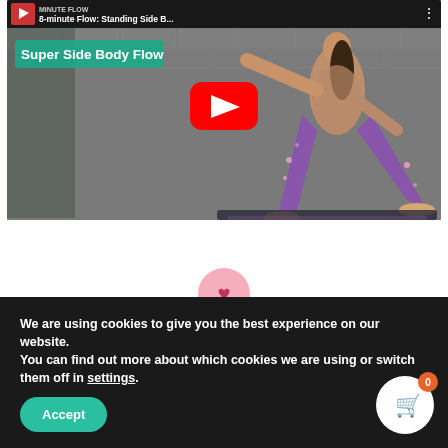[Figure (screenshot): YouTube video thumbnail showing '8-minute Flow: Standing Side B...' with a woman doing a yoga side stretch pose in front of a brick wall. Green label reads 'Super Side Body Flow'. Red YouTube play button in the center.]
[Figure (illustration): Pink heart/favorite icon button]
We are using cookies to give you the best experience on our website.
You can find out more about which cookies we are using or switch them off in settings.
Accept